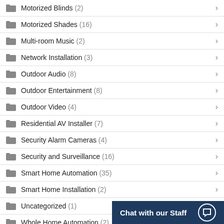Motorized Blinds (2)
Motorized Shades (16)
Multi-room Music (2)
Network Installation (3)
Outdoor Audio (8)
Outdoor Entertainment (8)
Outdoor Video (4)
Residential AV Installer (7)
Security Alarm Cameras (4)
Security and Surveillance (16)
Smart Home Automation (35)
Smart Home Installation (2)
Uncategorized (1)
Whole Home Automation (2)
Whole House Music
Chat with our Staff